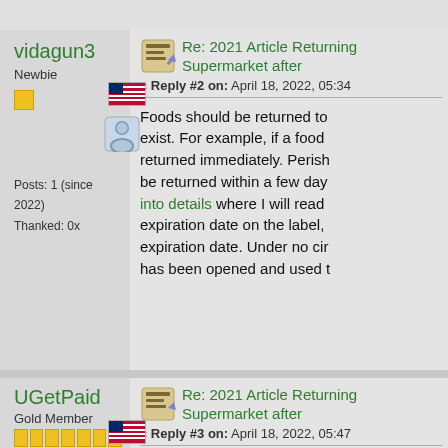vidagun3
Newbie
Posts: 1 (since 2022)
Thanked: 0x
Re: 2021 Article Returning Supermarket after
« Reply #2 on: April 18, 2022, 05:34
Foods should be returned to exist. For example, if a food returned immediately. Perish be returned within a few day into details where I will read expiration date on the label, expiration date. Under no cir has been opened and used t
UGetPaid
Gold Member
Re: 2021 Article Returning Supermarket after
« Reply #3 on: April 18, 2022, 05:47
^Classic case of someone n advantage of commenting an link. Gotta love the spamme